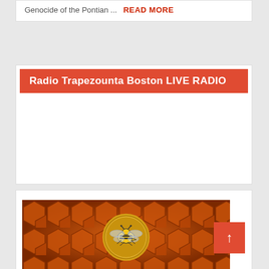Genocide of the Pontian ... READ MORE
Radio Trapezounta Boston LIVE RADIO
[Figure (illustration): Honeycomb pattern background with a golden bee logo in a circular medallion in the center]